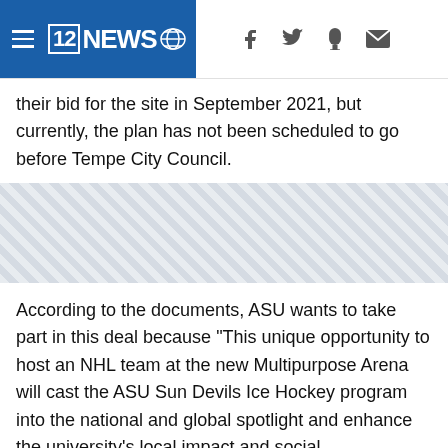12NEWS
their bid for the site in September 2021, but currently, the plan has not been scheduled to go before Tempe City Council.
[Figure (other): Advertisement placeholder with diagonal hatching pattern]
According to the documents, ASU wants to take part in this deal because "This unique opportunity to host an NHL team at the new Multipurpose Arena will cast the ASU Sun Devils Ice Hockey program into the national and global spotlight and enhance the university's local impact and social embeddedness."
Arizona Board of Regents policy 7-208 allows for